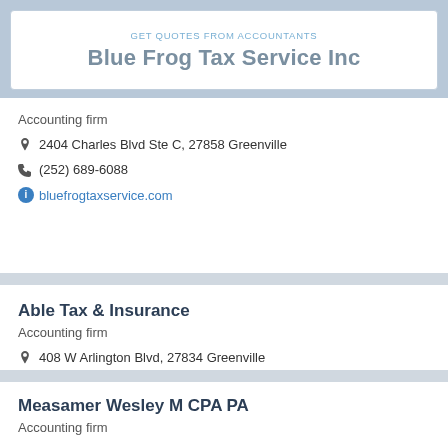GET QUOTES FROM ACCOUNTANTS
Blue Frog Tax Service Inc
Accounting firm
2404 Charles Blvd Ste C, 27858 Greenville
(252) 689-6088
bluefrogtaxservice.com
Able Tax & Insurance
Accounting firm
408 W Arlington Blvd, 27834 Greenville
(252) 377-4014
abletaxandinsurance.com
Measamer Wesley M CPA PA
Accounting firm